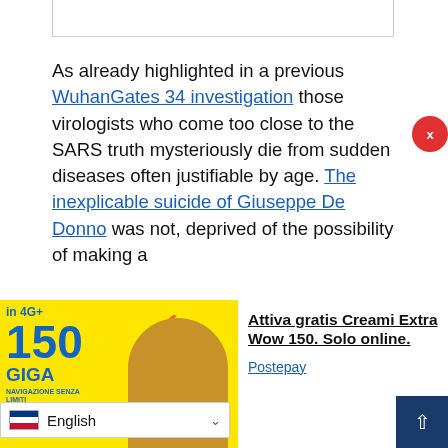[Figure (screenshot): Top portion of a webpage article box border visible at top]
As already highlighted in a previous WuhanGates 34 investigation those virologists who come too close to the SARS truth mysteriously die from sudden diseases often justifiable by age. The inexplicable suicide of Giuseppe De Donno was not, deprived of the possibility of making a tocol of his treatment on hyper-immune sma due to an intervention by Big Pharma
[Figure (infographic): Advertisement banner for Postepay Creami Extra Wow 150 GIGA mobile plan. Left side shows yellow background with '150 GIGA' text and a person holding a phone. Right side shows text 'Attiva gratis Creami Extra Wow 150. Solo online.' with Postepay link.]
Attiva gratis Creami Extra Wow 150. Solo online.
Postepay
English